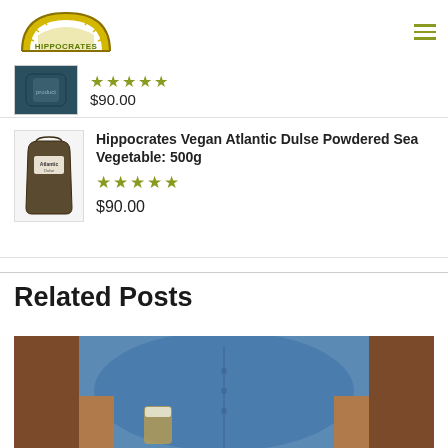[Figure (logo): Hippocrates Health Institute logo - circular sun/arch design with text HIPPOCRATES]
★★★★★ $90.00 (partial product, top of page)
Hippocrates Vegan Atlantic Dulse Powdered Sea Vegetable: 500g ★★★★★ $90.00
Related Posts
[Figure (photo): Overweight man in blue shirt sitting on brown leather couch holding a glass of beer]